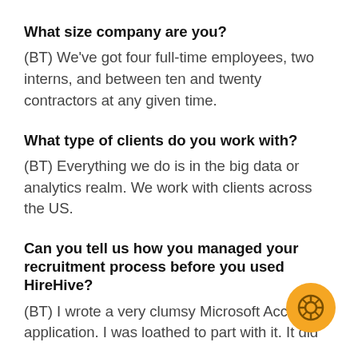What size company are you?
(BT) We've got four full-time employees, two interns, and between ten and twenty contractors at any given time.
What type of clients do you work with?
(BT) Everything we do is in the big data or analytics realm. We work with clients across the US.
Can you tell us how you managed your recruitment process before you used HireHive?
(BT) I wrote a very clumsy Microsoft Acce application. I was loathed to part with it. It did